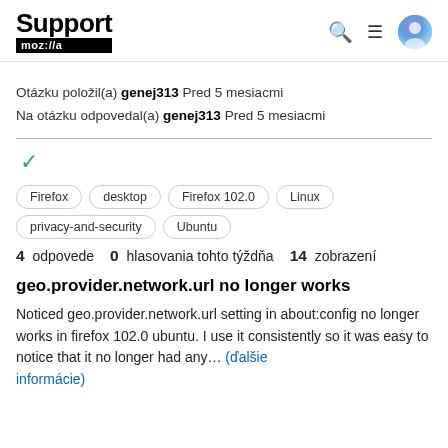Support mozilla // a
Otázku položil(a) genej313 Pred 5 mesiacmi
Na otázku odpovedal(a) genej313 Pred 5 mesiacmi
Firefox
desktop
Firefox 102.0
Linux
privacy-and-security
Ubuntu
4 odpovede  0 hlasovania tohto týždňa  14 zobrazení
geo.provider.network.url no longer works
Noticed geo.provider.network.url setting in about:config no longer works in firefox 102.0 ubuntu. I use it consistently so it was easy to notice that it no longer had any… (ďalšie informácie)